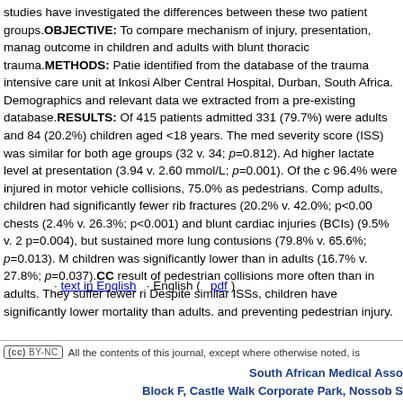studies have investigated the differences between these two patient groups. OBJECTIVE: To compare mechanism of injury, presentation, management and outcome in children and adults with blunt thoracic trauma. METHODS: Patients were identified from the database of the trauma intensive care unit at Inkosi Albert Luthuli Central Hospital, Durban, South Africa. Demographics and relevant data were extracted from a pre-existing database. RESULTS: Of 415 patients admitted, 331 (79.7%) were adults and 84 (20.2%) children aged <18 years. The median injury severity score (ISS) was similar for both age groups (32 v. 34; p=0.812). Adults had higher lactate level at presentation (3.94 v. 2.60 mmol/L; p=0.001). Of the children, 96.4% were injured in motor vehicle collisions, 75.0% as pedestrians. Compared with adults, children had significantly fewer rib fractures (20.2% v. 42.0%; p<0.001), flail chests (2.4% v. 26.3%; p<0.001) and blunt cardiac injuries (BCIs) (9.5% v. 23.9%; p=0.004), but sustained more lung contusions (79.8% v. 65.6%; p=0.013). Mortality in children was significantly lower than in adults (16.7% v. 27.8%; p=0.037). CONCLUSION: children was significantly lower than in adults (16.7% v. 27.8%; p=0.037). CONCLUSION: result of pedestrian collisions more often than in adults. They suffer fewer rib fractures. Despite similar ISSs, children have significantly lower mortality than adults. and preventing pedestrian injury.
· text in English · English ( pdf )
[Figure (logo): Creative Commons BY-NC license badge]
All the contents of this journal, except where otherwise noted, is
South African Medical Asso Block F, Castle Walk Corporate Park, Nossob S Pretoria, Gauteng, ZA, 01 Tel: +27 12 481 2069 publishing@hmpg.co.za